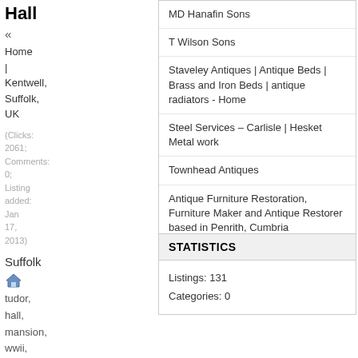Hall
«
Home | Kentwell, Suffolk, UK
(Clicks: 2061; Comments: 0; Listing added: Jan 17, 2013)
Suffolk
tudor, hall, mansion, wwii, re creation
http://www.kentwell.co.uk/
MD Hanafin Sons
T Wilson Sons
Staveley Antiques | Antique Beds | Brass and Iron Beds | antique radiators - Home
Steel Services – Carlisle | Hesket Metal work
Townhead Antiques
Antique Furniture Restoration, Furniture Maker and Antique Restorer based in Penrith, Cumbria
STATISTICS
Listings: 131
Categories: 0